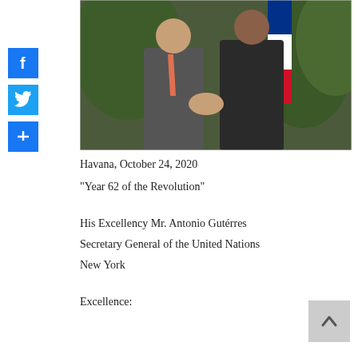[Figure (photo): Two men in suits shaking hands, with flags and tropical foliage visible in the background.]
Havana, October 24, 2020
"Year 62 of the Revolution"
His Excellency Mr. Antonio Gutérres
Secretary General of the United Nations
New York
Excellence: